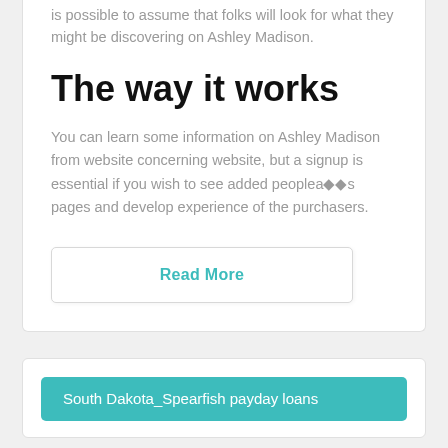is possible to assume that folks will look for what they might be discovering on Ashley Madison.
The way it works
You can learn some information on Ashley Madison from website concerning website, but a signup is essential if you wish to see added peopleaï¿½s pages and develop experience of the purchasers.
Read More
South Dakota_Spearfish payday loans